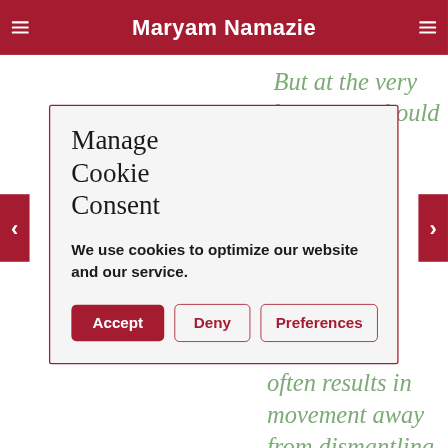Maryam Namazie
But at the very least eyes should
Manage Cookie Consent
We use cookies to optimize our website and our service.
Accept | Deny | Preferences
often results in movement away from dismantling kyriarchial social